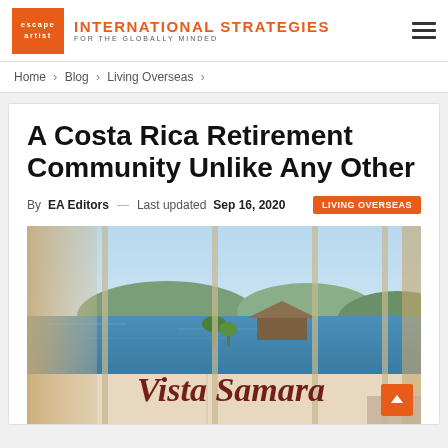INTERNATIONAL STRATEGIES FOR THE GLOBALLY MINDED — escape artist logo
Home > Blog > Living Overseas >
A Costa Rica Retirement Community Unlike Any Other
By EA Editors — Last updated Sep 16, 2020  LIVING OVERSEAS
[Figure (photo): Interior view through large glass windows overlooking blue ocean, tropical hills and a thatched-roof building. Overlay text reads 'Vista Samara' in dark red italic serif font.]